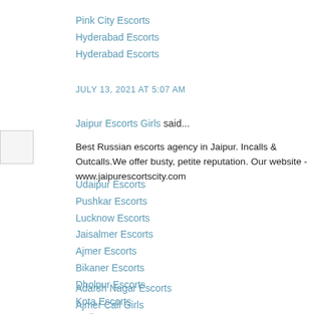Pink City Escorts
Hyderabad Escorts
Hyderabad Escorts
JULY 13, 2021 AT 5:07 AM
Jaipur Escorts Girls said...
Best Russian escorts agency in Jaipur. Incalls & Outcalls.We offer busty, petite reputation. Our website - www.jaipurescortscity.com
Udaipur Escorts
Pushkar Escorts
Lucknow Escorts
Jaisalmer Escorts
Ajmer Escorts
Bikaner Escorts
Dholpur Escorts
Kota Escorts
Jodhpur Escorts
Adarsh Nagar Escorts
Ajmer Call Girls